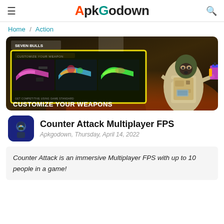ApkGodown
Home / Action
[Figure (screenshot): Game banner for Counter Attack Multiplayer FPS showing customizable weapon skins and a soldier character, with text 'CUSTOMIZE YOUR WEAPONS' and 'UNLIMITED WEAPON CUSTOMIZATION!']
Counter Attack Multiplayer FPS
Apkgodown, Thursday, April 14, 2022
Counter Attack is an immersive Multiplayer FPS with up to 10 people in a game!